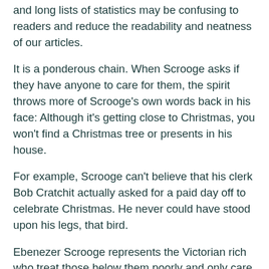and long lists of statistics may be confusing to readers and reduce the readability and neatness of our articles.
It is a ponderous chain. When Scrooge asks if they have anyone to care for them, the spirit throws more of Scrooge's own words back in his face: Although it's getting close to Christmas, you won't find a Christmas tree or presents in his house.
For example, Scrooge can't believe that his clerk Bob Cratchit actually asked for a paid day off to celebrate Christmas. He never could have stood upon his legs, that bird.
Ebenezer Scrooge represents the Victorian rich who treat those below them poorly and only care for their own well-being. He shows his cold-heartedness toward others by refusing to make a monetary donation for the good of the